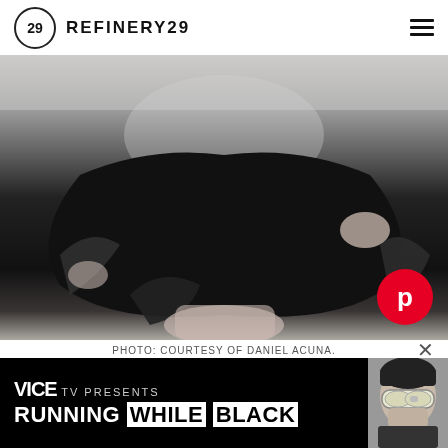REFINERY29
[Figure (photo): Black and white fashion photo of a person wearing a flowing black dress/skirt, viewed from below mid-torso, with the fabric billowing outward. A Pinterest button overlay appears in the bottom right corner.]
PHOTO: COURTESY OF DANIEL ACUNA.
[Figure (screenshot): VICE TV advertisement banner. Text reads: VICE TV PRESENTS RUNNING WHILE BLACK. Right side shows a person wearing white ski goggles.]